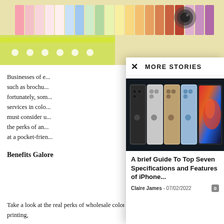[Figure (photo): Color swatch fan decks and printing samples spread out on a surface, top background image]
Businesses of e... such as brochu... fortunately, som... services in colo... must consider u... the perks of an... at a pocket-frien...
Benefits Galore
Take a look at the real perks of wholesale color printing,
MORE STORIES
[Figure (photo): Five iPhone models shown from the back in different colors: space gray, silver, gold, blue, and one showing the colorful screen]
A brief Guide To Top Seven Specifications and Features of iPhone...
Claire James  -  07/02/2022